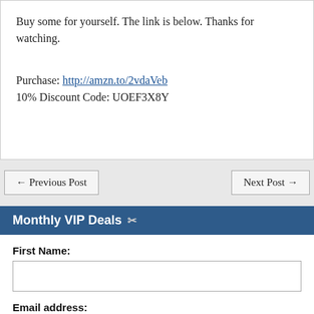Buy some for yourself. The link is below. Thanks for watching.
Purchase: http://amzn.to/2vdaVeb
10% Discount Code: UOEF3X8Y
← Previous Post
Next Post →
Monthly VIP Deals ✂
First Name:
Email address:
Your email address